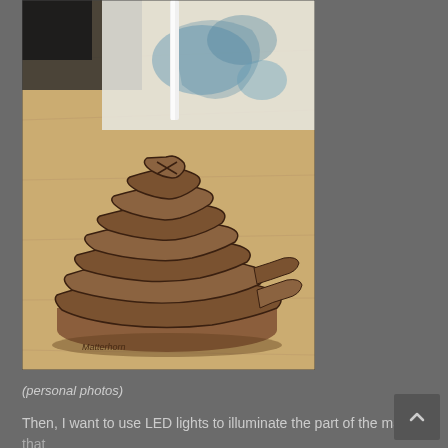[Figure (photo): A layered wooden topographic map model of the Matterhorn, stacked laser-cut wood layers showing mountain contours, placed on a light wood surface. A white cylindrical rod protrudes from the top. Text 'Matterhorn' is visible on the base layer.]
(personal photos)
Then, I want to use LED lights to illuminate the part of the map that